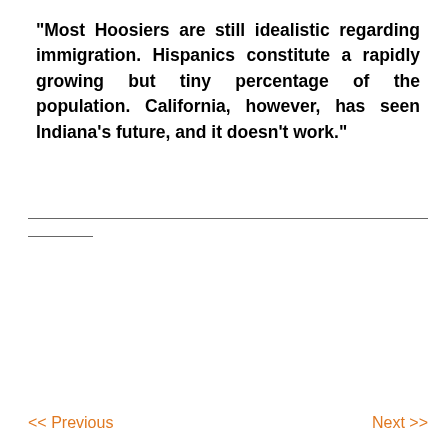"Most Hoosiers are still idealistic regarding immigration. Hispanics constitute a rapidly growing but tiny percentage of the population. California, however, has seen Indiana's future, and it doesn't work."
[Figure (infographic): Print button and social media sharing icons: Twitter (blue bird), Facebook (blue f), Google+ (orange G+), Email (black envelope)]
<< Previous
Next >>